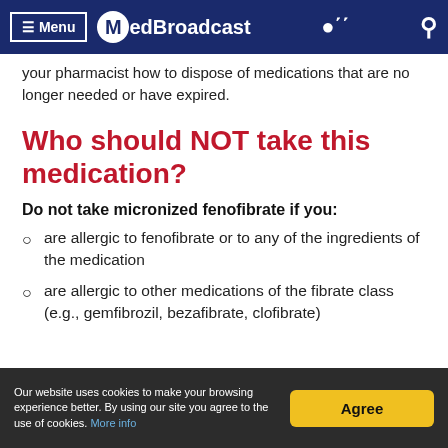Menu  MedBroadcast
your pharmacist how to dispose of medications that are no longer needed or have expired.
Who should NOT take this medication?
Do not take micronized fenofibrate if you:
are allergic to fenofibrate or to any of the ingredients of the medication
are allergic to other medications of the fibrate class (e.g., gemfibrozil, bezafibrate, clofibrate)
Our website uses cookies to make your browsing experience better. By using our site you agree to the use of cookies. More info  Agree